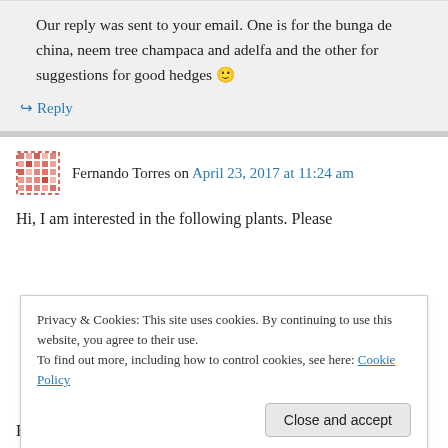Our reply was sent to your email. One is for the bunga de china, neem tree champaca and adelfa and the other for suggestions for good hedges 🙂
↪ Reply
Fernando Torres on April 23, 2017 at 11:24 am
Hi, I am interested in the following plants. Please
Privacy & Cookies: This site uses cookies. By continuing to use this website, you agree to their use. To find out more, including how to control cookies, see here: Cookie Policy
Close and accept
Buddha Bamboo